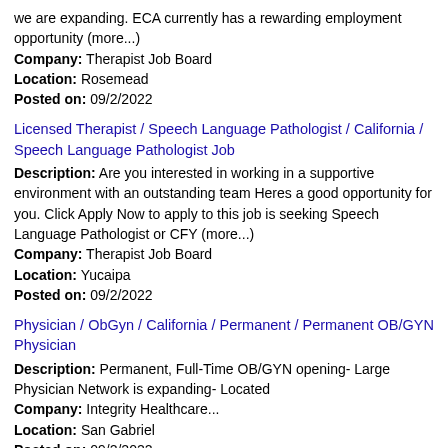we are expanding. ECA currently has a rewarding employment opportunity (more...)
Company: Therapist Job Board
Location: Rosemead
Posted on: 09/2/2022
Licensed Therapist / Speech Language Pathologist / California / Speech Language Pathologist Job
Description: Are you interested in working in a supportive environment with an outstanding team Heres a good opportunity for you. Click Apply Now to apply to this job is seeking Speech Language Pathologist or CFY (more...)
Company: Therapist Job Board
Location: Yucaipa
Posted on: 09/2/2022
Physician / ObGyn / California / Permanent / Permanent OB/GYN Physician
Description: Permanent, Full-Time OB/GYN opening- Large Physician Network is expanding- Located
Company: Integrity Healthcare...
Location: San Gabriel
Posted on: 09/2/2022